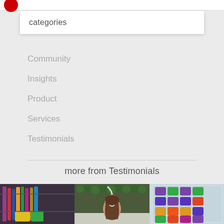categories
Community
Insights
Product
Services
Testimonials
more from Testimonials
[Figure (photo): Photo strip showing a pet store with colorful leashes and accessories on the left, a smiling woman in the center in front of a green hedge wall with pet products, and a refrigerator display case with colorful canned pet food on the right.]